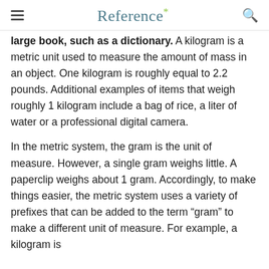Reference*
large book, such as a dictionary. A kilogram is a metric unit used to measure the amount of mass in an object. One kilogram is roughly equal to 2.2 pounds. Additional examples of items that weigh roughly 1 kilogram include a bag of rice, a liter of water or a professional digital camera.
In the metric system, the gram is the unit of measure. However, a single gram weighs little. A paperclip weighs about 1 gram. Accordingly, to make things easier, the metric system uses a variety of prefixes that can be added to the term “gram” to make a different unit of measure. For example, a kilogram is